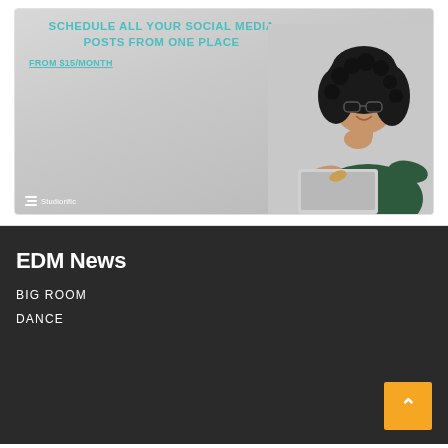[Figure (photo): Advertisement banner for Studiorific social media scheduling tool. Shows a smiling woman with curly hair and glasses sitting at a laptop. Text overlay reads 'SCHEDULE ALL YOUR SOCIAL MEDIA POSTS FROM ONE PLACE' and 'FROM $15/MONTH'. Studiorific logo at bottom left.]
EDM News
BIG ROOM
DANCE